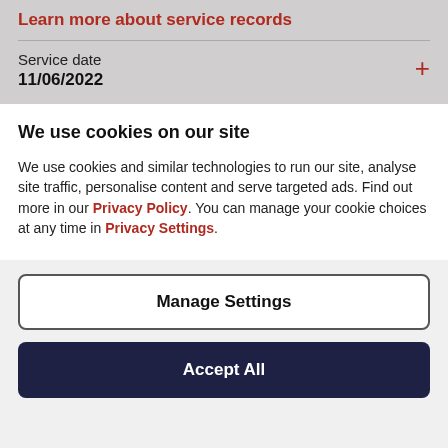Learn more about service records
Service date
11/06/2022
We use cookies on our site
We use cookies and similar technologies to run our site, analyse site traffic, personalise content and serve targeted ads. Find out more in our Privacy Policy. You can manage your cookie choices at any time in Privacy Settings.
Manage Settings
Accept All